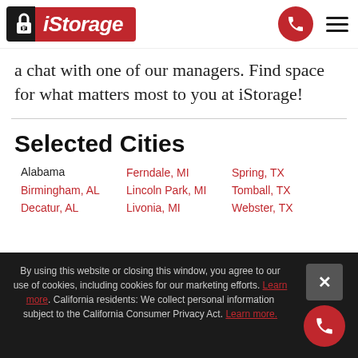[Figure (logo): iStorage self-storage company logo with padlock icon on black/red background]
a chat with one of our managers. Find space for what matters most to you at iStorage!
Selected Cities
Alabama
Birmingham, AL
Decatur, AL
Ferndale, MI
Lincoln Park, MI
Livonia, MI
Spring, TX
Tomball, TX
Webster, TX
By using this website or closing this window, you agree to our use of cookies, including cookies for our marketing efforts. Learn more. California residents: We collect personal information subject to the California Consumer Privacy Act. Learn more.